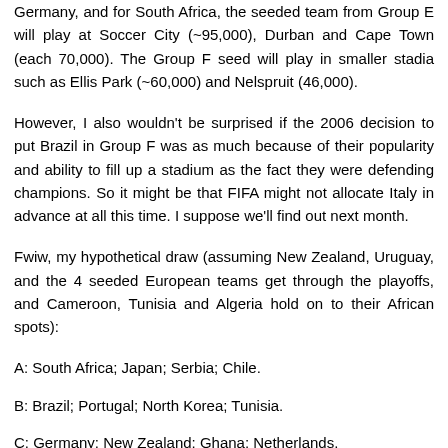Germany, and for South Africa, the seeded team from Group E will play at Soccer City (~95,000), Durban and Cape Town (each 70,000). The Group F seed will play in smaller stadia such as Ellis Park (~60,000) and Nelspruit (46,000).
However, I also wouldn't be surprised if the 2006 decision to put Brazil in Group F was as much because of their popularity and ability to fill up a stadium as the fact they were defending champions. So it might be that FIFA might not allocate Italy in advance at all this time. I suppose we'll find out next month.
Fwiw, my hypothetical draw (assuming New Zealand, Uruguay, and the 4 seeded European teams get through the playoffs, and Cameroon, Tunisia and Algeria hold on to their African spots):
A: South Africa; Japan; Serbia; Chile.
B: Brazil; Portugal; North Korea; Tunisia.
C: Germany; New Zealand; Ghana; Netherlands.